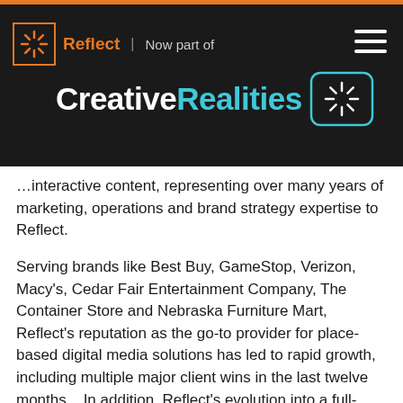Reflect | Now part of Creative Realities
…interactive content, representing over many years of marketing, operations and brand strategy expertise to Reflect.
Serving brands like Best Buy, GameStop, Verizon, Macy's, Cedar Fair Entertainment Company, The Container Store and Nebraska Furniture Mart, Reflect's reputation as the go-to provider for place-based digital media solutions has led to rapid growth, including multiple major client wins in the last twelve months.   In addition, Reflect's evolution into a full-service digital media provider has resulted in outstanding demand for their suite of managed services, including content strategy and creation, interactive application development, content scheduling, hardware…